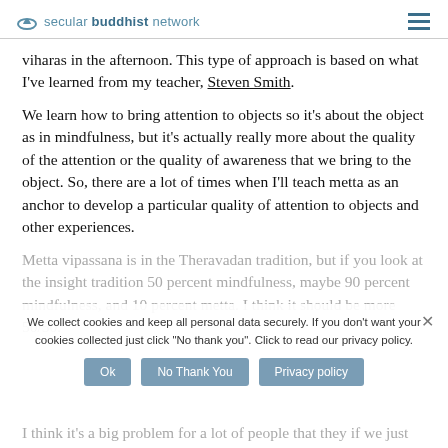secular buddhist network
viharas in the afternoon. This type of approach is based on what I've learned from my teacher, Steven Smith.
We learn how to bring attention to objects so it's about the object as in mindfulness, but it's actually really more about the quality of the attention or the quality of awareness that we bring to the object. So, there are a lot of times when I'll teach metta as an anchor to develop a particular quality of attention to objects and other experiences.
Metta vipassana is in the Theravadan tradition, but if you look at the insight tradition 50 percent mindfulness, maybe 90 percent mindfulness, and 10 percent metta. I think it should be more 50/50.
We collect cookies and keep all personal data securely. If you don't want your cookies collected just click "No thank you". Click to read our privacy policy.
I think it's a big problem for a lot of people that they if we just